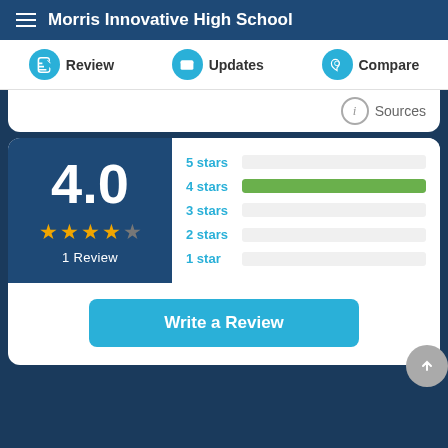Morris Innovative High School
Review | Updates | Compare
Sources
4.0
★★★★☆
1 Review
[Figure (bar-chart): Star rating distribution]
Write a Review